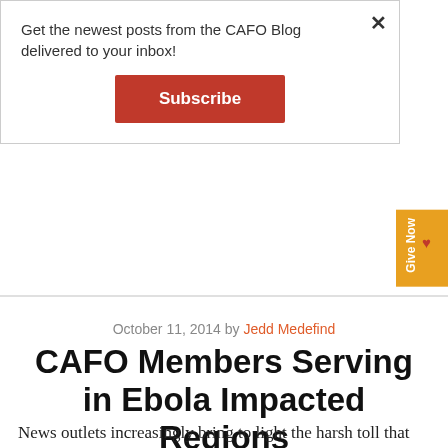Get the newest posts from the CAFO Blog delivered to your inbox!
Subscribe
October 11, 2014 by Jedd Medefind
CAFO Members Serving in Ebola Impacted Regions
Facebook
Twitter
News outlets increasingly bring to light the harsh toll that Ebola is taking on children. The Washington Post